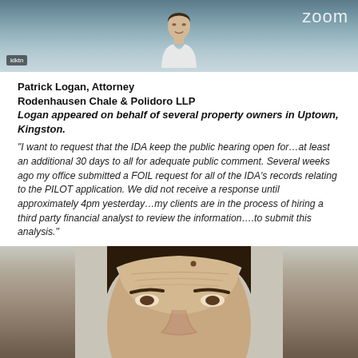[Figure (photo): Screenshot of a Zoom video call showing a person from the shoulders up against a blurred background. The Zoom logo watermark is visible in the upper right.]
Patrick Logan, Attorney
Rodenhausen Chale & Polidoro LLP
Logan appeared on behalf of several property owners in Uptown, Kingston.
“I want to request that the IDA keep the public hearing open for…at least an additional 30 days to all for adequate public comment. Several weeks ago my office submitted a FOIL request for all of the IDA’s records relating to the PILOT application. We did not receive a response until approximately 4pm yesterday…my clients are in the process of hiring a third party financial analyst to review the information….to submit this analysis.”
[Figure (photo): Close-up photo of a man's face from forehead to mid-face, showing dark hair and a wrinkled forehead against a light grey background.]